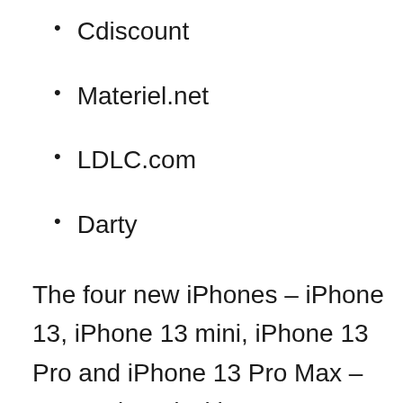Cdiscount
Materiel.net
LDLC.com
Darty
The four new iPhones – iPhone 13, iPhone 13 mini, iPhone 13 Pro and iPhone 13 Pro Max – are equipped with